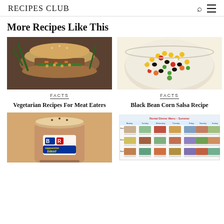RECIPES CLUB
More Recipes Like This
[Figure (photo): Photo of a vegetarian sandwich/burger with roasted vegetables and chickpeas on a seeded bun]
FACTS
Vegetarian Recipes For Meat Eaters
[Figure (photo): Photo of a colorful black bean corn salsa in a white bowl with peppers and vegetables]
FACTS
Black Bean Corn Salsa Recipe
[Figure (photo): Photo of a Baskin-Robbins BR Cappuccino Blast drink]
[Figure (table-as-image): Table showing a Rental Dinner Menu for Summer with weekly meal plans across Monday through Sunday]